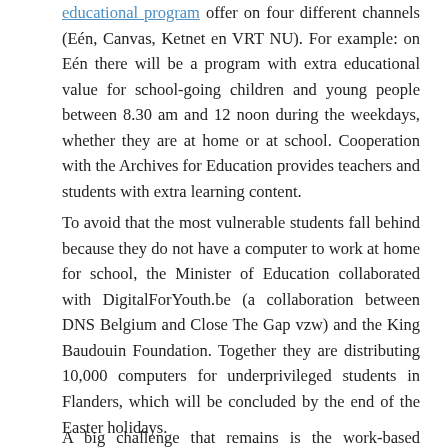educational program offer on four different channels (Eén, Canvas, Ketnet en VRT NU). For example: on Eén there will be a program with extra educational value for school-going children and young people between 8.30 am and 12 noon during the weekdays, whether they are at home or at school. Cooperation with the Archives for Education provides teachers and students with extra learning content.
To avoid that the most vulnerable students fall behind because they do not have a computer to work at home for school, the Minister of Education collaborated with DigitalForYouth.be (a collaboration between DNS Belgium and Close The Gap vzw) and the King Baudouin Foundation. Together they are distributing 10,000 computers for underprivileged students in Flanders, which will be concluded by the end of the Easter holidays.
A big challenge that remains is the work-based component